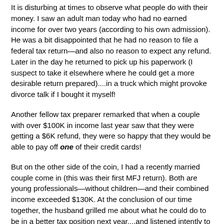It is disturbing at times to observe what people do with their money. I saw an adult man today who had no earned income for over two years (according to his own admission). He was a bit disappointed that he had no reason to file a federal tax return—and also no reason to expect any refund. Later in the day he returned to pick up his paperwork (I suspect to take it elsewhere where he could get a more desirable return prepared)....in a truck which might provoke divorce talk if I bought it myself!
Another fellow tax preparer remarked that when a couple with over $100K in income last year saw that they were getting a $6K refund, they were so happy that they would be able to pay off one of their credit cards!
But on the other side of the coin, I had a recently married couple come in (this was their first MFJ return). Both are young professionals—without children—and their combined income exceeded $130K. At the conclusion of our time together, the husband grilled me about what he could do to be in a better tax position next year....and listened intently to my advice.